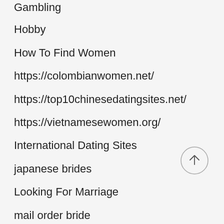Gambling
Hobby
How To Find Women
https://colombianwomen.net/
https://top10chinesedatingsites.net/
https://vietnamesewomen.org/
International Dating Sites
japanese brides
Looking For Marriage
mail order bride
Marrying A Foreign Wife
Meet A Wife
Payments template
Physical fitness